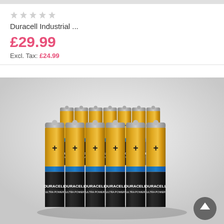[Figure (other): Gray banner strip at top of page]
[Figure (other): Five gray star rating icons]
Duracell Industrial ...
£29.99
Excl. Tax: £24.99
[Figure (photo): Group of Duracell Ultra Power AA batteries arranged in a block formation, showing gold tops with blue band and black body with DURACELL ULTRA POWER branding]